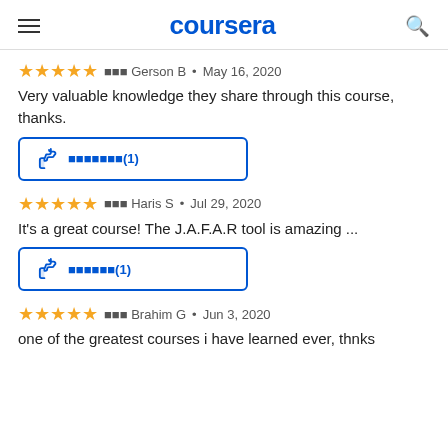coursera
★★★★★  ░░░ Gerson B • May 16, 2020
Very valuable knowledge they share through this course, thanks.
[Figure (other): Helpful button with thumbs up icon and text ░░░░░░░(1)]
★★★★★  ░░░ Haris S • Jul 29, 2020
It's a great course! The J.A.F.A.R tool is amazing ...
[Figure (other): Helpful button with thumbs up icon and text ░░░░░░(1)]
★★★★★  ░░░ Brahim G • Jun 3, 2020
one of the greatest courses i have learned ever, thnks